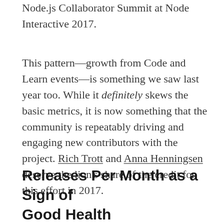Node.js Collaborator Summit at Node Interactive 2017.
This pattern—growth from Code and Learn events—is something we saw last year too. While it definitely skews the basic metrics, it is now something that the community is repeatably driving and engaging new contributors with the project. Rich Trott and Anna Henningsen deserve the lion's share of the credit for this effort in 2017.
Releases Per Month as a Sign of Good Health